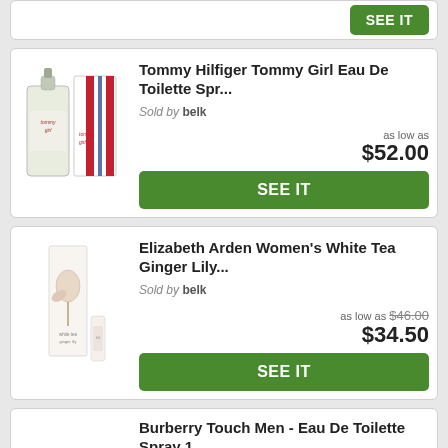[Figure (photo): Green SEE IT button at top of page, partial card]
[Figure (photo): Tommy Hilfiger Tommy Girl perfume bottle with striped box]
Tommy Hilfiger Tommy Girl Eau De Toilette Spr...
Sold by belk
as low as $52.00
SEE IT
[Figure (photo): Elizabeth Arden White Tea Ginger Lily perfume bottle and box]
Elizabeth Arden Women's White Tea Ginger Lily...
Sold by belk
as low as $46.00 $34.50
SEE IT
Burberry Touch Men - Eau De Toilette Spray 1 ...